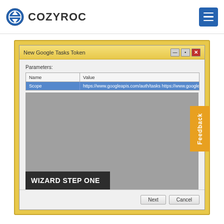COZYROC
[Figure (screenshot): Screenshot of a Windows dialog titled 'New Google Tasks Token' showing a parameters table with columns Name and Value. The Scope row is selected (highlighted blue) showing value 'https://www.googleapis.com/auth/tasks https://www.googlea...'. Below is a gray area. A dark overlay label reads 'WIZARD STEP ONE'. Footer has Next and Cancel buttons.]
WIZARD STEP ONE